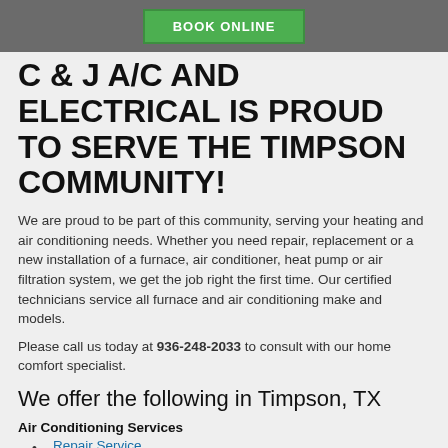BOOK ONLINE
C & J A/C AND ELECTRICAL IS PROUD TO SERVE THE TIMPSON COMMUNITY!
We are proud to be part of this community, serving your heating and air conditioning needs. Whether you need repair, replacement or a new installation of a furnace, air conditioner, heat pump or air filtration system, we get the job right the first time. Our certified technicians service all furnace and air conditioning make and models.
Please call us today at 936-248-2033 to consult with our home comfort specialist.
We offer the following in Timpson, TX
Air Conditioning Services
Repair Service
New Air Conditioner Sales
Air Conditioning Installation